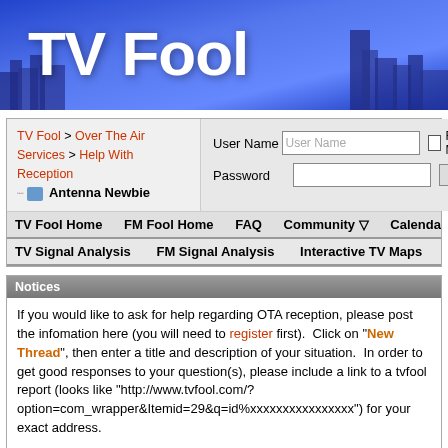[Figure (illustration): TV Fool website banner with city skyline silhouette in blue/purple tones and large white 'TV Fool' text]
TV Fool > Over The Air Services > Help With Reception
Antenna Newbie
User Name | Password | Remember Me? | Log in
TV Fool Home  FM Fool Home  FAQ  Community  Calendar  Search
TV Signal Analysis  FM Signal Analysis  Interactive TV Maps  Google Earth
Notices
If you would like to ask for help regarding OTA reception, please post the infomation here (you will need to register first).  Click on "New Thread", then enter a title and description of your situation.  In order to get good responses to your question(s), please include a link to a tvfool report (looks like "http://www.tvfool.com/?option=com_wrapper&Itemid=29&q=id%xxxxxxxxxxxxxxxx") for your exact address.
For information on some common antenna, check out our